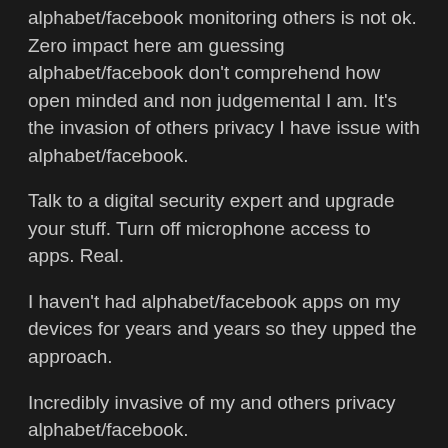alphabet/facebook monitoring others is not ok. Zero impact here am guessing alphabet/facebook don't comprehend how open minded and non judgemental I am. It's the invasion of others privacy I have issue with alphabet/facebook.
Talk to a digital security expert and upgrade your stuff. Turn off microphone access to apps. Real.
I haven't had alphabet/facebook apps on my devices for years and years so they upped the approach.
Incredibly invasive of my and others privacy alphabet/facebook.